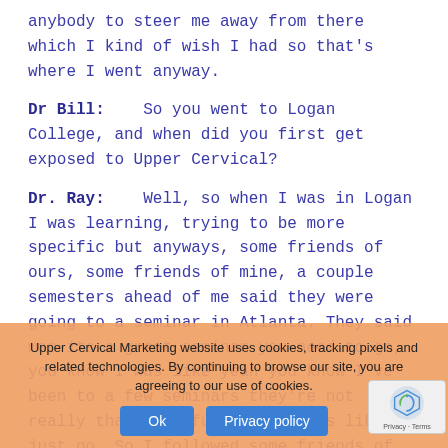anybody to steer me away from there which I kind of wish I had so that's where I went anyway.
Dr Bill:    So you went to Logan College, and when did you first get exposed to Upper Cervical?
Dr. Ray:    Well, so when I was in Logan I was learning, trying to be more specific but anyways, some friends of ours, some friends of mine, a couple semesters ahead of me said they were going to a seminar in Atlanta. They said man its a great seminar you need to go, you know I was like yeah you know I've been to a few seminars they're not really that much fun. And he was like, just go. So I followed some friends of mine I said you know I've heard of this place in Buckhead in Atlanta that is a lot of fun. Lets go there. If the seminar sucks we'll just go party in Buckhead for the weekend...
Upper Cervical Marketing website uses cookies, tracking pixels and related technologies. By continuing to browse our site, you are agreeing to our use of cookies.